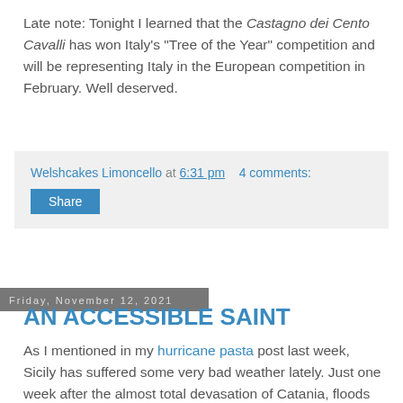Late note: Tonight I learned that the Castagno dei Cento Cavalli has won Italy's "Tree of the Year" competition and will be representing Italy in the European competition in February. Well deserved.
Welshcakes Limoncello at 6:31 pm    4 comments:
Share
Friday, November 12, 2021
AN ACCESSIBLE SAINT
As I mentioned in my hurricane pasta post last week, Sicily has suffered some very bad weather lately. Just one week after the almost total devasation of Catania, floods hit the province again last night, affecting Agrigento and Siracusa provinces as well. Even Ragusa did not escape this time. So there was no "St Martin's summer" ("Indian summer") for us this year.